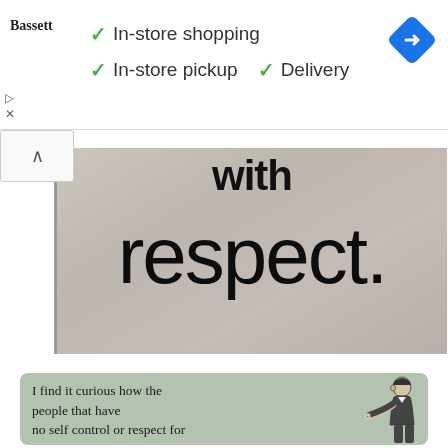[Figure (screenshot): Ad banner for Bassett furniture store showing checkmarks for In-store shopping, In-store pickup, and Delivery, with a blue navigation diamond icon.]
[Figure (photo): Large text on textured gray background reading 'with respect.' - partial view of motivational typography poster.]
[Figure (illustration): E-card style image on sage green background with vintage illustration of a man pointing, text reads: I find it curious how the people that have no self control or respect for your feelings are the]